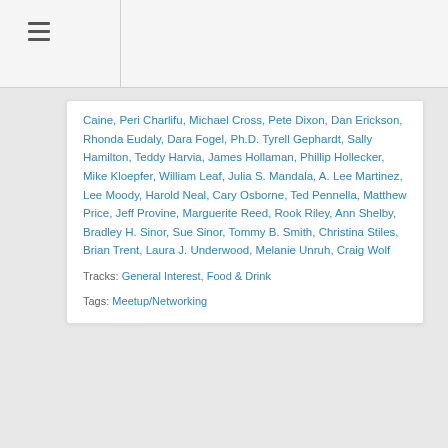≡
Caine, Peri Charlifu, Michael Cross, Pete Dixon, Dan Erickson, Rhonda Eudaly, Dara Fogel, Ph.D. Tyrell Gephardt, Sally Hamilton, Teddy Harvia, James Hollaman, Phillip Hollecker, Mike Kloepfer, William Leaf, Julia S. Mandala, A. Lee Martinez, Lee Moody, Harold Neal, Cary Osborne, Ted Pennella, Matthew Price, Jeff Provine, Marguerite Reed, Rook Riley, Ann Shelby, Bradley H. Sinor, Sue Sinor, Tommy B. Smith, Christina Stiles, Brian Trent, Laura J. Underwood, Melanie Unruh, Craig Wolf
Tracks: General Interest, Food & Drink
Tags: Meetup/Networking